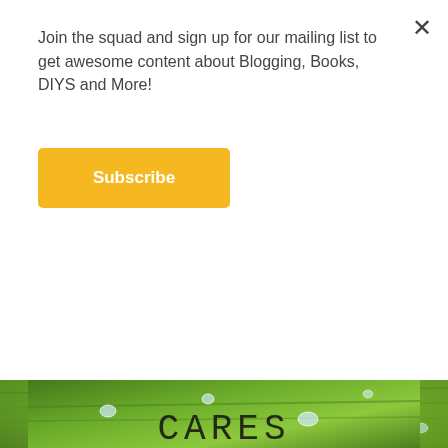Join the squad and sign up for our mailing list to get awesome content about Blogging, Books, DIYS and More!
Subscribe
[Figure (photo): Close-up photo of a green leaf with water droplets, overlaid with text: 'Your Anxiety on Him Because He Cares']